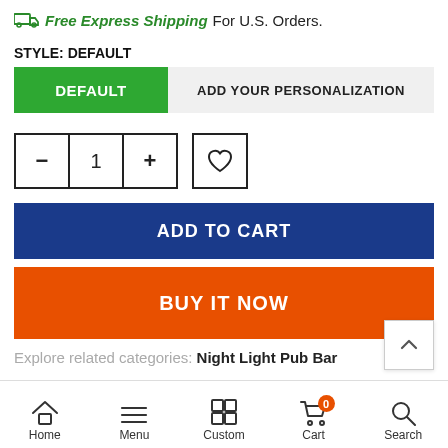🚚 Free Express Shipping For U.S. Orders.
STYLE: DEFAULT
DEFAULT | ADD YOUR PERSONALIZATION
- 1 + ♡
ADD TO CART
BUY IT NOW
Explore related categories: Night Light Pub Bar
Home | Menu | Custom | Cart 0 | Search